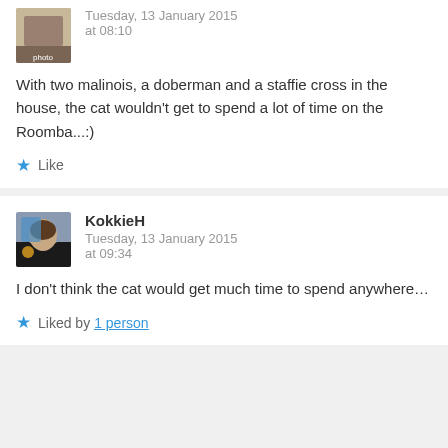[Figure (photo): Avatar image of first commenter, partially visible at top]
Tuesday, 13 January 2015
at 08:10
With two malinois, a doberman and a staffie cross in the house, the cat wouldn’t get to spend a lot of time on the Roomba...:)
★ Like
[Figure (photo): Avatar photo of KokkieH, a man with dark hair and beard wearing a black shirt]
KokkieH
Tuesday, 13 January 2015
at 09:34
I don’t think the cat would get much time to spend anywhere…
★ Liked by 1 person